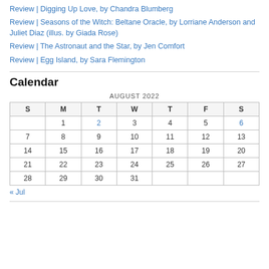Review | Digging Up Love, by Chandra Blumberg
Review | Seasons of the Witch: Beltane Oracle, by Lorriane Anderson and Juliet Diaz (illus. by Giada Rose)
Review | The Astronaut and the Star, by Jen Comfort
Review | Egg Island, by Sara Flemington
Calendar
| S | M | T | W | T | F | S |
| --- | --- | --- | --- | --- | --- | --- |
|  | 1 | 2 | 3 | 4 | 5 | 6 |
| 7 | 8 | 9 | 10 | 11 | 12 | 13 |
| 14 | 15 | 16 | 17 | 18 | 19 | 20 |
| 21 | 22 | 23 | 24 | 25 | 26 | 27 |
| 28 | 29 | 30 | 31 |  |  |  |
« Jul